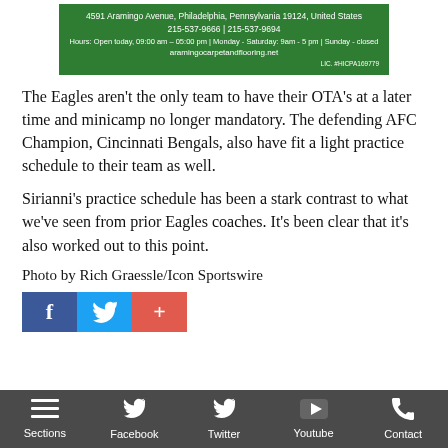[Figure (other): Green advertisement banner for Aramingo Carpet and Flooring with white text showing address, phone numbers, hours, and website.]
The Eagles aren't the only team to have their OTA's at a later time and minicamp no longer mandatory. The defending AFC Champion, Cincinnati Bengals, also have fit a light practice schedule to their team as well.
Sirianni's practice schedule has been a stark contrast to what we've seen from prior Eagles coaches. It's been clear that it's also worked out to this point.
Photo by Rich Graessle/Icon Sportswire
[Figure (other): Social sharing icons: Facebook (blue), Twitter (light blue), and a red plus/share button.]
Sections | Facebook | Twitter | Youtube | Contact